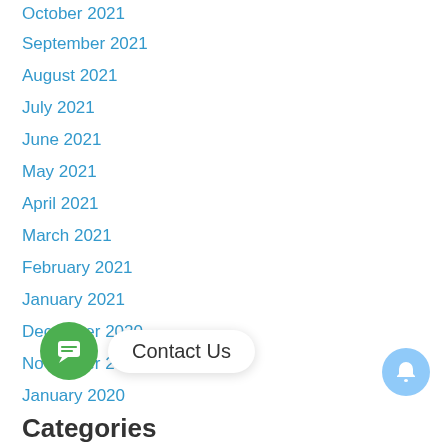October 2021
September 2021
August 2021
July 2021
June 2021
May 2021
April 2021
March 2021
February 2021
January 2021
December 2020
November 2020
January 2020
Categories